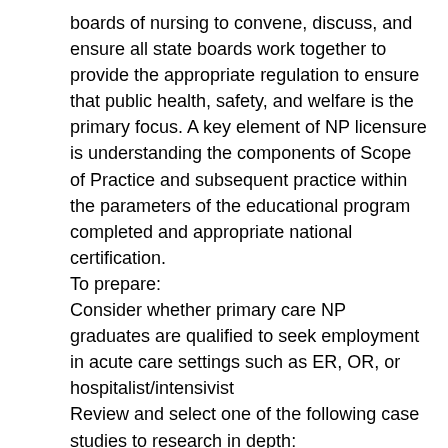boards of nursing to convene, discuss, and ensure all state boards work together to provide the appropriate regulation to ensure that public health, safety, and welfare is the primary focus. A key element of NP licensure is understanding the components of Scope of Practice and subsequent practice within the parameters of the educational program completed and appropriate national certification.
To prepare:
Consider whether primary care NP graduates are qualified to seek employment in acute care settings such as ER, OR, or hospitalist/intensivist
Review and select one of the following case studies to research in depth:
Case Study One: Selecting the Certification Exam for your specialty.
Mary is in the last two months of her program of study. She is trying to decide whether to take the American Association of Nurse Practitioner Credentialing Exam or the American Nurses Credentialing Exam.
Case Study Two: Obtaining initial licensure post matriculation. Amy, FNP-BC has recently graduated from an accredited Family